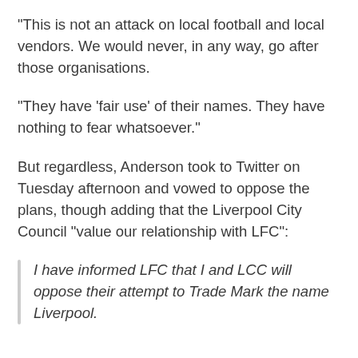“This is not an attack on local football and local vendors. We would never, in any way, go after those organisations.
“They have ‘fair use’ of their names. They have nothing to fear whatsoever.”
But regardless, Anderson took to Twitter on Tuesday afternoon and vowed to oppose the plans, though adding that the Liverpool City Council “value our relationship with LFC”:
I have informed LFC that I and LCC will oppose their attempt to Trade Mark the name Liverpool.